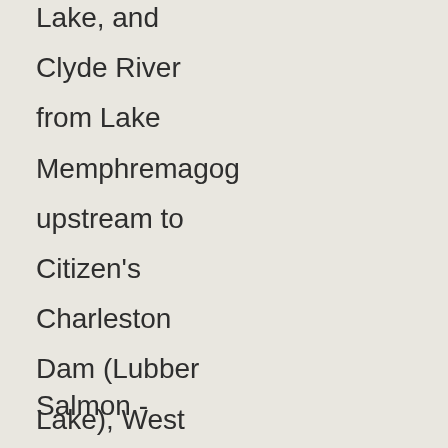Lake, and Clyde River from Lake Memphremagog upstream to Citizen's Charleston Dam (Lubber Lake), West Charleston
Salmon -